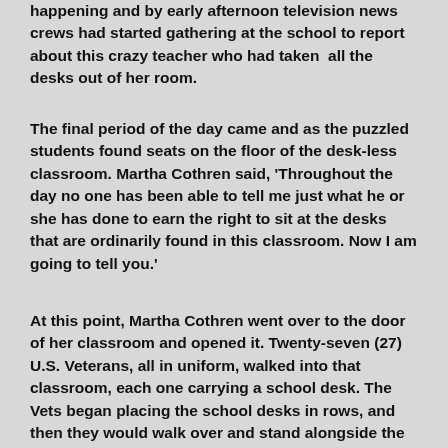happening and by early afternoon television news crews had started gathering at the school to report about this crazy teacher who had taken all the desks out of her room.
The final period of the day came and as the puzzled students found seats on the floor of the desk-less classroom. Martha Cothren said, 'Throughout the day no one has been able to tell me just what he or she has done to earn the right to sit at the desks that are ordinarily found in this classroom. Now I am going to tell you.'
At this point, Martha Cothren went over to the door of her classroom and opened it. Twenty-seven (27) U.S. Veterans, all in uniform, walked into that classroom, each one carrying a school desk. The Vets began placing the school desks in rows, and then they would walk over and stand alongside the wall. By the time